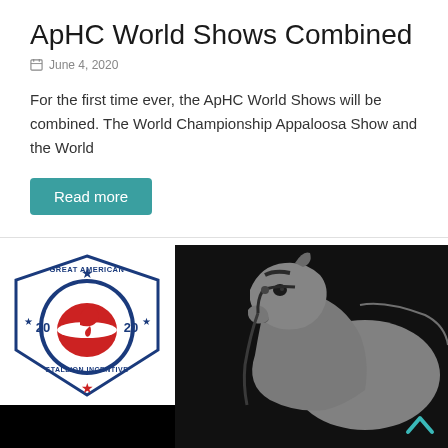ApHC World Shows Combined
June 4, 2020
For the first time ever, the ApHC World Shows will be combined. The World Championship Appaloosa Show and the World
Read more
[Figure (logo): Great American 2020 Stallion Incentive logo with blue and red design and horse silhouette]
[Figure (photo): Close-up professional photograph of a grey horse's head and neck on a black background, wearing a bridle]